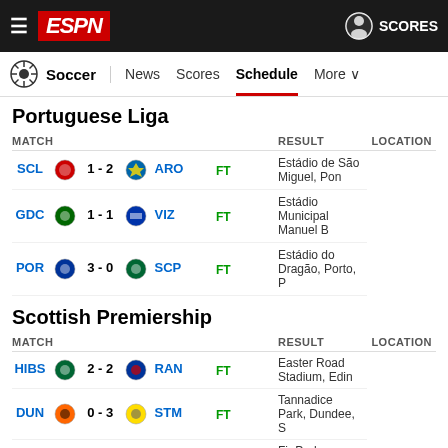ESPN - Soccer Schedule
Portuguese Liga
| MATCH |  | RESULT | LOCATION |
| --- | --- | --- | --- |
| SCL | 1 - 2 | ARO FT | Estádio de São Miguel, Pon |
| GDC | 1 - 1 | VIZ FT | Estádio Municipal Manuel B |
| POR | 3 - 0 | SCP FT | Estádio do Dragão, Porto, P |
Scottish Premiership
| MATCH |  | RESULT | LOCATION |
| --- | --- | --- | --- |
| HIBS | 2 - 2 | RAN FT | Easter Road Stadium, Edin |
| DUN | 0 - 3 | STM FT | Tannadice Park, Dundee, S |
| MOT | 1 - 0 | LIV FT | Fir Park, Motherwell, Scotla |
| ROSS | 1 - 0 | KIL FT | Global Energy Stadium, Di |
| STJO | 0 - 1 | ABER FT | McDiarmid Park, Perth, Sc |